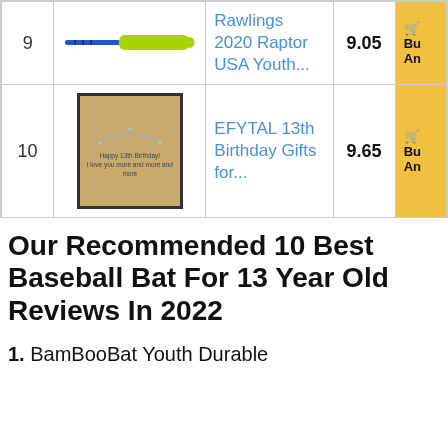| # | Image | Product | Score | Buy |
| --- | --- | --- | --- | --- |
| 9 | [baseball bat image] | Rawlings 2020 Raptor USA Youth... | 9.05 | Bu... An... |
| 10 | [necklace gift box image] | EFYTAL 13th Birthday Gifts for... | 9.65 | Bu... An... |
Our Recommended 10 Best Baseball Bat For 13 Year Old Reviews In 2022
1. BamBooBat Youth Durable